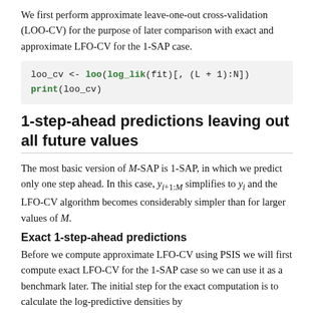We first perform approximate leave-one-out cross-validation (LOO-CV) for the purpose of later comparison with exact and approximate LFO-CV for the 1-SAP case.
[Figure (screenshot): Code block showing: loo_cv <- loo(log_lik(fit)[, (L + 1):N])
print(loo_cv)]
1-step-ahead predictions leaving out all future values
The most basic version of M-SAP is 1-SAP, in which we predict only one step ahead. In this case, y_{i+1:M} simplifies to y_i and the LFO-CV algorithm becomes considerably simpler than for larger values of M.
Exact 1-step-ahead predictions
Before we compute approximate LFO-CV using PSIS we will first compute exact LFO-CV for the 1-SAP case so we can use it as a benchmark later. The initial step for the exact computation is to calculate the log-predictive densities by